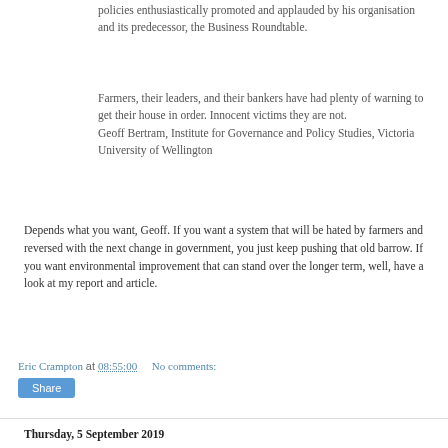policies enthusiastically promoted and applauded by his organisation and its predecessor, the Business Roundtable.
Farmers, their leaders, and their bankers have had plenty of warning to get their house in order. Innocent victims they are not.
Geoff Bertram, Institute for Governance and Policy Studies, Victoria University of Wellington
Depends what you want, Geoff. If you want a system that will be hated by farmers and reversed with the next change in government, you just keep pushing that old barrow. If you want environmental improvement that can stand over the longer term, well, have a look at my report and article.
Eric Crampton at 08:55:00   No comments:
Share
Thursday, 5 September 2019